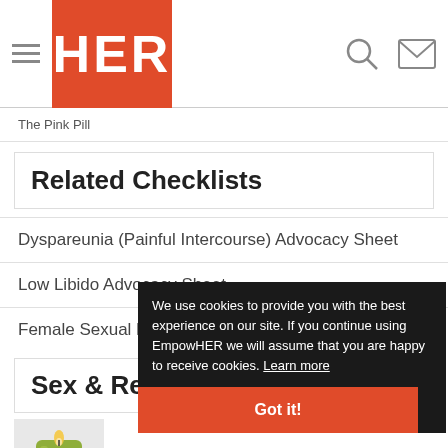HER
The Pink Pill
Related Checklists
Dyspareunia (Painful Intercourse) Advocacy Sheet
Low Libido Advocacy Sheet
Female Sexual Dysfunction Advocacy Sheet
Sex & Re
[Figure (photo): Green candle in glass holder with flame]
We use cookies to provide you with the best experience on our site. If you continue using EmpowHER we will assume that you are happy to receive cookies. Learn more
Got it!